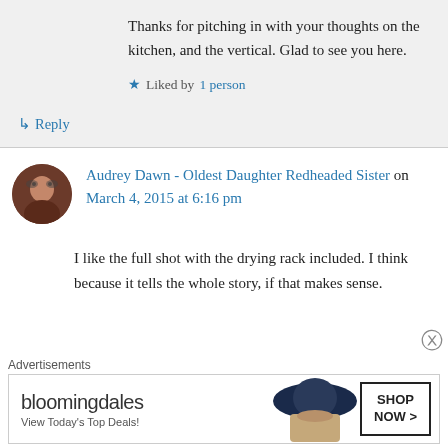Thanks for pitching in with your thoughts on the kitchen, and the vertical. Glad to see you here.
★ Liked by 1 person
↳ Reply
Audrey Dawn - Oldest Daughter Redheaded Sister on March 4, 2015 at 6:16 pm
I like the full shot with the drying rack included. I think because it tells the whole story, if that makes sense.
[Figure (photo): Bloomingdales advertisement banner with woman in large hat and 'SHOP NOW >' button. Text reads 'bloomingdales - View Today's Top Deals!']